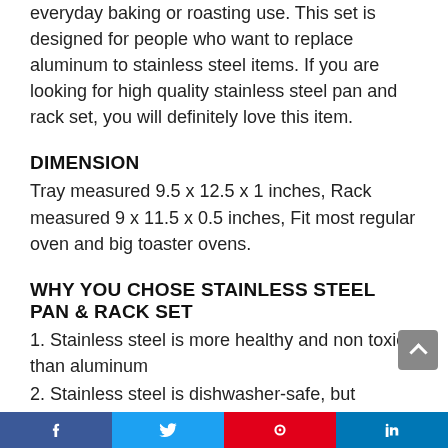everyday baking or roasting use. This set is designed for people who want to replace aluminum to stainless steel items. If you are looking for high quality stainless steel pan and rack set, you will definitely love this item.
DIMENSION
Tray measured 9.5 x 12.5 x 1 inches, Rack measured 9 x 11.5 x 0.5 inches, Fit most regular oven and big toaster ovens.
WHY YOU CHOSE STAINLESS STEEL PAN & RACK SET
1. Stainless steel is more healthy and non toxic than aluminum
2. Stainless steel is dishwasher-safe, but aluminum not
3. Stainless steel is more easily clean up even hand washing
4. Stainless steel, food cook more evenly, less stick
[Figure (other): Social media share bar at page bottom with Facebook, Twitter, Pinterest, and LinkedIn buttons]